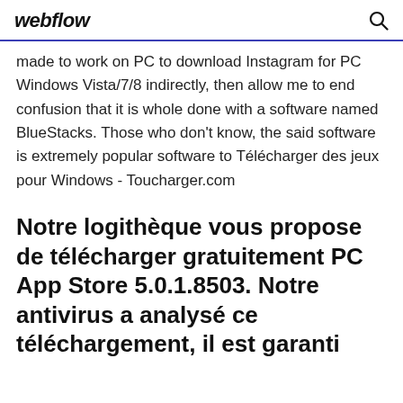webflow
made to work on PC to download Instagram for PC Windows Vista/7/8 indirectly, then allow me to end confusion that it is whole done with a software named BlueStacks. Those who don't know, the said software is extremely popular software to Télécharger des jeux pour Windows - Toucharger.com
Notre logithèque vous propose de télécharger gratuitement PC App Store 5.0.1.8503. Notre antivirus a analysé ce téléchargement, il est garanti